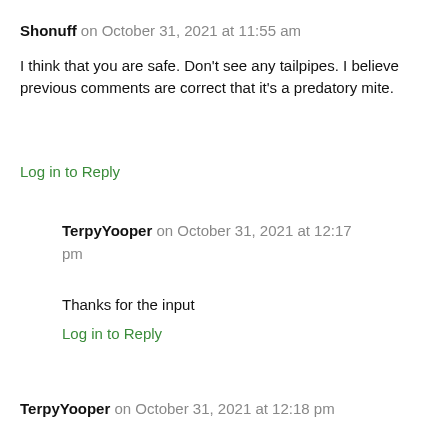Shonuff on October 31, 2021 at 11:55 am
I think that you are safe. Don't see any tailpipes. I believe previous comments are correct that it's a predatory mite.
Log in to Reply
TerpyYooper on October 31, 2021 at 12:17 pm
Thanks for the input
Log in to Reply
TerpyYooper on October 31, 2021 at 12:18 pm